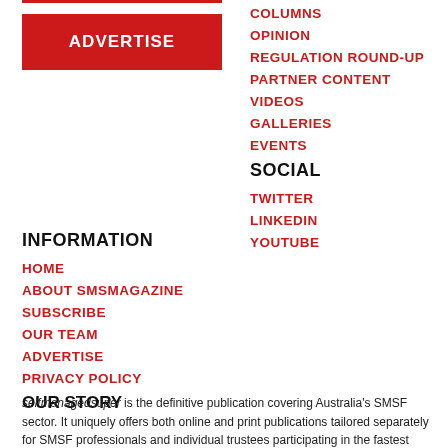[Figure (other): Red ADVERTISE button]
COLUMNS
OPINION
REGULATION ROUND-UP
PARTNER CONTENT
VIDEOS
GALLERIES
EVENTS
INFORMATION
SOCIAL
HOME
TWITTER
ABOUT SMSMAGAZINE
LINKEDIN
SUBSCRIBE
YOUTUBE
OUR TEAM
ADVERTISE
PRIVACY POLICY
OUR STORY
selfmanagedsuper is the definitive publication covering Australia's SMSF sector. It uniquely offers both online and print publications tailored separately for SMSF professionals and individual trustees participating in the fastest growing and